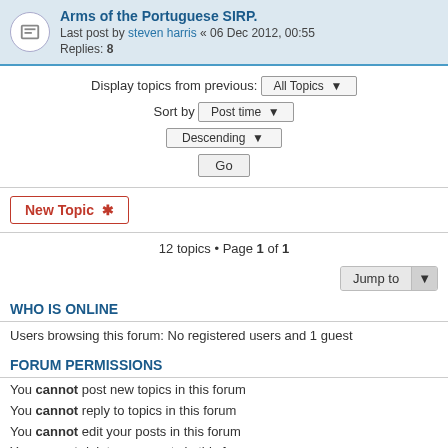Arms of the Portuguese SIRP. Last post by steven harris « 06 Dec 2012, 00:55 Replies: 8
Display topics from previous: All Topics ▾
Sort by Post time ▾
Descending ▾
Go
New Topic ✱
12 topics • Page 1 of 1
Jump to
WHO IS ONLINE
Users browsing this forum: No registered users and 1 guest
FORUM PERMISSIONS
You cannot post new topics in this forum
You cannot reply to topics in this forum
You cannot edit your posts in this forum
You cannot delete your posts in this forum
You cannot post attachments in this forum
IAAH Website · Board index   Contact us   The team   ≡
Powered by phpBB® Forum Software © phpBB Limited